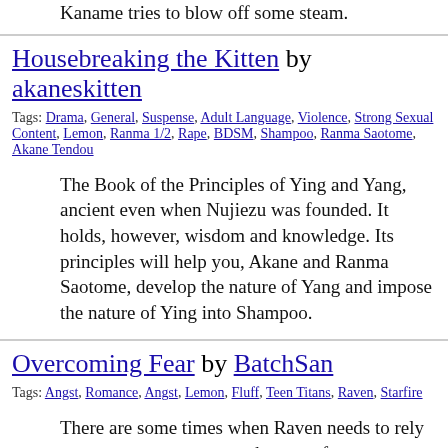Kaname tries to blow off some steam.
Housebreaking the Kitten by akaneskitten
Tags: Drama, General, Suspense, Adult Language, Violence, Strong Sexual Content, Lemon, Ranma 1/2, Rape, BDSM, Shampoo, Ranma Saotome, Akane Tendou
The Book of the Principles of Ying and Yang, ancient even when Nujiezu was founded. It holds, however, wisdom and knowledge. Its principles will help you, Akane and Ranma Saotome, develop the nature of Yang and impose the nature of Ying into Shampoo.
Overcoming Fear by BatchSan
Tags: Angst, Romance, Angst, Lemon, Fluff, Teen Titans, Raven, Starfire
There are some times when Raven needs to rely on someone to overcome her own fears. -Raven/Starfire-
Haibane Renmai: Uncensored by Anime Lover
Tags: Angst, Comedy, Drama, Fantasy, Romance, Sci-Fi, Adult Language, Strong Sexual Content, Angst, Lemon, PWP, Humor, Slice of Life, Haibane